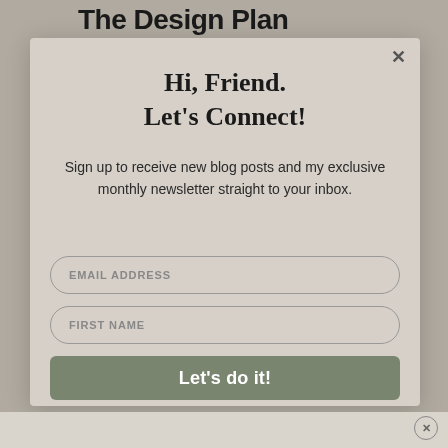The Design Plan
Hi, Friend.
Let's Connect!
Sign up to receive new blog posts and my exclusive monthly newsletter straight to your inbox.
EMAIL ADDRESS
FIRST NAME
Let's do it!